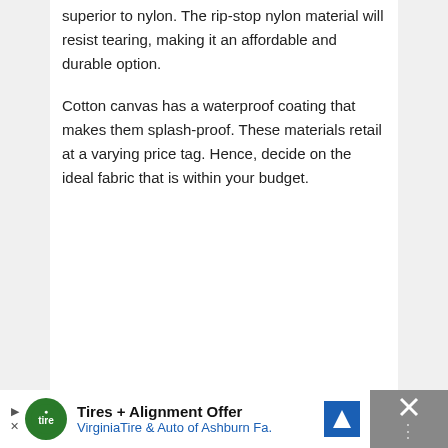superior to nylon. The rip-stop nylon material will resist tearing, making it an affordable and durable option.
Cotton canvas has a waterproof coating that makes them splash-proof. These materials retail at a varying price tag. Hence, decide on the ideal fabric that is within your budget.
[Figure (other): Advertisement banner for Tires + Alignment Offer from VirginiaTire & Auto of Ashburn Fa., with logo, navigation arrow icon, and close button with X.]